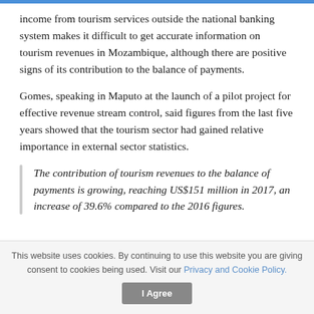income from tourism services outside the national banking system makes it difficult to get accurate information on tourism revenues in Mozambique, although there are positive signs of its contribution to the balance of payments.
Gomes, speaking in Maputo at the launch of a pilot project for effective revenue stream control, said figures from the last five years showed that the tourism sector had gained relative importance in external sector statistics.
The contribution of tourism revenues to the balance of payments is growing, reaching US$151 million in 2017, an increase of 39.6% compared to the 2016 figures.
This website uses cookies. By continuing to use this website you are giving consent to cookies being used. Visit our Privacy and Cookie Policy.